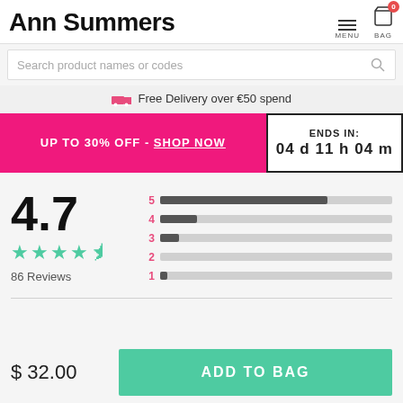Ann Summers
Search product names or codes
Free Delivery over €50 spend
UP TO 30% OFF - SHOP NOW
ENDS IN: 04 d 11 h 04 m
[Figure (infographic): Star rating display showing 4.7 out of 5 stars with 86 Reviews. Bar chart showing distribution: 5 stars (large fill), 4 stars (small fill), 3 stars (tiny fill), 2 stars (empty), 1 star (tiny fill).]
$ 32.00
ADD TO BAG